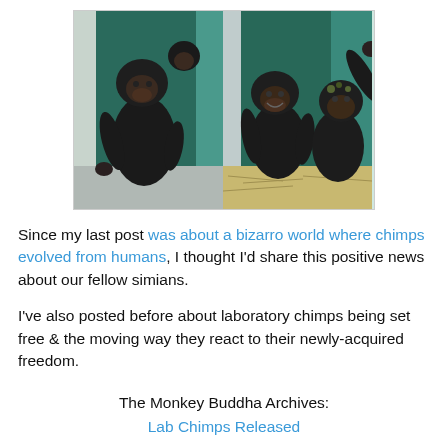[Figure (photo): Two side-by-side photographs of chimpanzees. Left photo shows a chimp sitting and looking forward, framed by a green doorway. Right photo shows two chimps, one raising its arm, in a similar green-framed setting with straw on the ground.]
Since my last post was about a bizarro world where chimps evolved from humans, I thought I'd share this positive news about our fellow simians.
I've also posted before about laboratory chimps being set free & the moving way they react to their newly-acquired freedom.
The Monkey Buddha Archives:
Lab Chimps Released